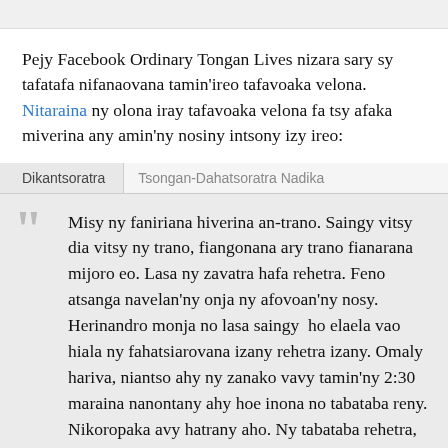Pejy Facebook Ordinary Tongan Lives nizara sary sy tafatafa nifanaovana tamin'ireo tafavoaka velona. Nitaraina ny olona iray tafavoaka velona fa tsy afaka miverina any amin'ny nosiny intsony izy ireo:
Dikantsoratra | Tsongan-Dahatsoratra Nadika
Misy ny faniriana hiverina an-trano. Saingy vitsy dia vitsy ny trano, fiangonana ary trano fianarana mijoro eo. Lasa ny zavatra hafa rehetra. Feno atsanga navelan'ny onja ny afovoan'ny nosy. Herinandro monja no lasa saingy  ho elaela vao hiala ny fahatsiarovana izany rehetra izany. Omaly hariva, niantso ahy ny zanako vavy tamin'ny 2:30 maraina nanontany ahy hoe inona no tabataba reny. Nikoropaka avy hatrany aho. Ny tabataba rehetra, na dia ny fiara mirohondrohona aza dia